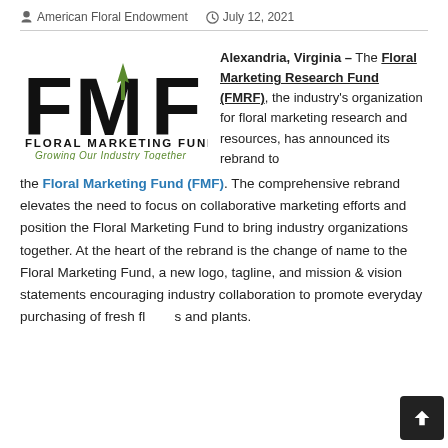American Floral Endowment   July 12, 2021
[Figure (logo): Floral Marketing Fund (FMF) logo — large black letters FMF with a green upward arrow accent on the M, beneath which reads FLORAL MARKETING FUND in bold caps and Growing Our Industry Together in green italic]
Alexandria, Virginia – The Floral Marketing Research Fund (FMRF), the industry's organization for floral marketing research and resources, has announced its rebrand to the Floral Marketing Fund (FMF). The comprehensive rebrand elevates the need to focus on collaborative marketing efforts and position the Floral Marketing Fund to bring industry organizations together. At the heart of the rebrand is the change of name to the Floral Marketing Fund, a new logo, tagline, and mission & vision statements encouraging industry collaboration to promote everyday purchasing of fresh flowers and plants.